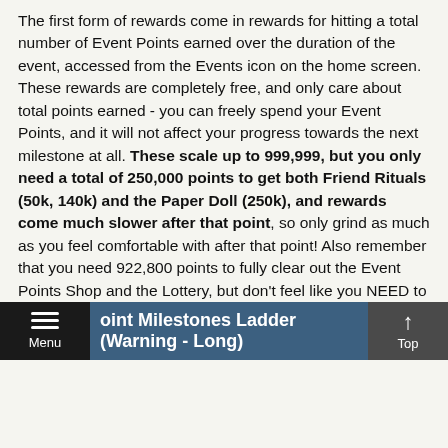The first form of rewards come in rewards for hitting a total number of Event Points earned over the duration of the event, accessed from the Events icon on the home screen. These rewards are completely free, and only care about total points earned - you can freely spend your Event Points, and it will not affect your progress towards the next milestone at all. These scale up to 999,999, but you only need a total of 250,000 points to get both Friend Rituals (50k, 140k) and the Paper Doll (250k), and rewards come much slower after that point, so only grind as much as you feel comfortable with after that point! Also remember that you need 922,800 points to fully clear out the Event Points Shop and the Lottery, but don't feel like you NEED to get that many, since a lot of that is tied up in Coins and Spirit P which you may or may not need.
Point Milestones Ladder (Warning - Long)